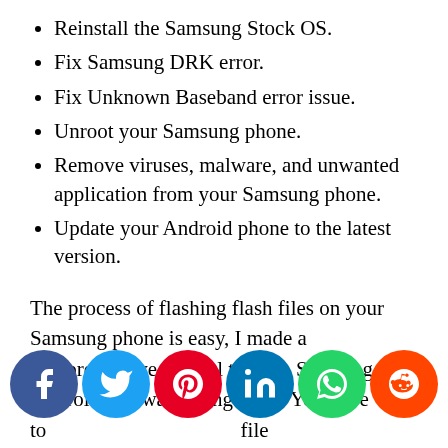Reinstall the Samsung Stock OS.
Fix Samsung DRK error.
Fix Unknown Baseband error issue.
Unroot your Samsung phone.
Remove viruses, malware, and unwanted application from your Samsung phone.
Update your Android phone to the latest version.
The process of flashing flash files on your Samsung phone is easy, I made a comprehensive tutorial to flash Samsung Android firmware using Odin. You have to find the most of flash firmware file successfully on any Samsung Android device. So,